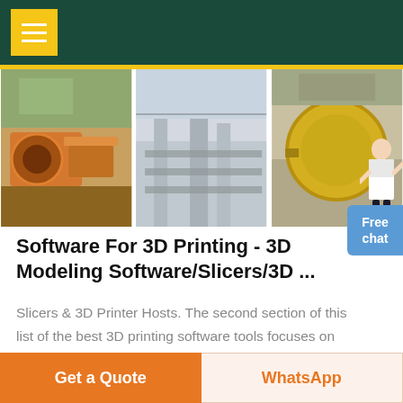Navigation menu header bar with hamburger menu icon
[Figure (photo): Three industrial machinery photos side by side: a jaw crusher/mining machine (orange), an industrial plant structure (grey/blue), and a large ball mill (yellow/grey)]
Software For 3D Printing - 3D Modeling Software/Slicers/3D ...
Slicers & 3D Printer Hosts. The second section of this list of the best 3D printing software tools focuses on programs that help you to execute a 3D print. Slicers are the easiest way to go from a 3D model to a printed part because they take a CAD model, slice it into layers and turn the model
Get a Quote | WhatsApp